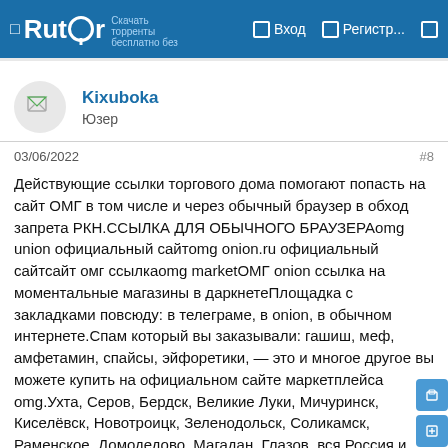Rutor | Вход | Регистр...
Kixuboka
Юзер
03/06/2022    #8
Действующие ссылки торгового дома помогают попасть на сайт ОМГ в том числе и через обычный браузер в обход запрета РКН.ССЫЛКА ДЛЯ ОБЫЧНОГО БРАУЗЕРАomg union официальный сайтomg onion.ru официальный сайтсайт омг ссылкаomg marketОМГ onion ссылка на моментальные магазины в даркнетеПлощадка с закладками повсюду: в телеграме, в onion, в обычном интернете.Спам который вы заказывали: гашиш, меф, амфетамин, спайсы, эйфоретики, — это и многое другое вы можете купить на официальном сайте маркетплейса omg.Ухта, Серов, Бердск, Великие Луки, Мичуринск, Киселёвск, Новотроицк, Зеленодольск, Соликамск, Раменское, Домодедово, Магадан, Глазов, вся Россия и СНГ.Магазин закладок omg —